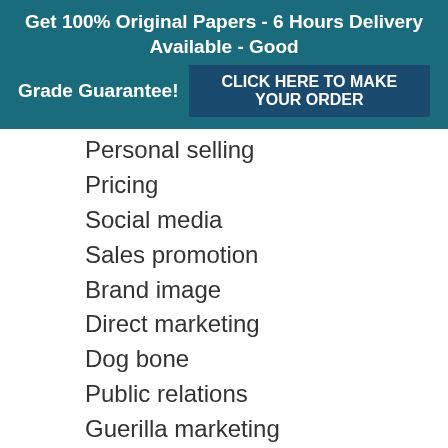Get 100% Original Papers - 6 Hours Delivery Available - Good Grade Guarantee! CLICK HERE TO MAKE YOUR ORDER
Personal selling
Pricing
Social media
Sales promotion
Brand image
Direct marketing
Dog bone
Public relations
Guerilla marketing
For each of the three, describe in detail what you will present to your client, including the theme of your message, which execution technique (slice of life, demonstration. etc) you will use and if you plan to use an